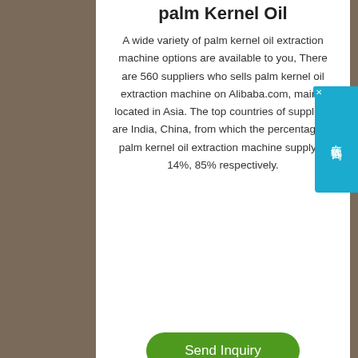palm Kernel Oil
A wide variety of palm kernel oil extraction machine options are available to you, There are 560 suppliers who sells palm kernel oil extraction machine on Alibaba.com, mainly located in Asia. The top countries of suppliers are India, China, from which the percentage of palm kernel oil extraction machine supply is 14%, 85% respectively.
[Figure (other): Send Inquiry green rounded button]
[Figure (other): Phone and Email dark contact bar buttons]
[Figure (other): Whatsapp dark button overlaying bottom section]
action Machine | Palm t ( Kernel) Oil
Palm Oil press station: Separate palm fruit and kernel,
[Figure (other): Chinese online chat widget overlay on right side — 在线咨询 with close button]